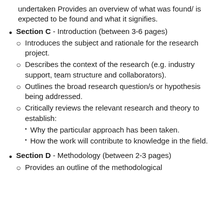undertaken Provides an overview of what was found/ is expected to be found and what it signifies.
Section C - Introduction (between 3-6 pages)
Introduces the subject and rationale for the research project.
Describes the context of the research (e.g. industry support, team structure and collaborators).
Outlines the broad research question/s or hypothesis being addressed.
Critically reviews the relevant research and theory to establish:
Why the particular approach has been taken.
How the work will contribute to knowledge in the field.
Section D - Methodology (between 2-3 pages)
Provides an outline of the methodological